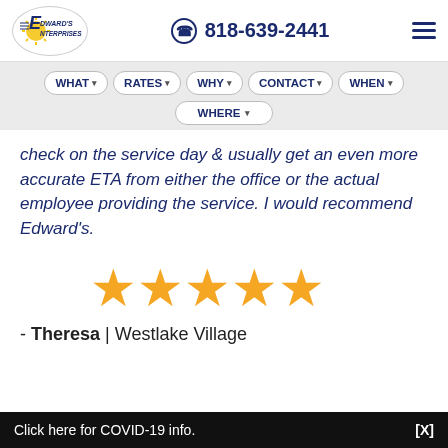Edward's Enterprises  818-639-2441
[Figure (infographic): Navigation menu bar with buttons: WHAT, RATES, WHY, CONTACT, WHEN, WHERE]
check on the service day & usually get an even more accurate ETA from either the office or the actual employee providing the service. I would recommend Edward's.
[Figure (infographic): Five gold star rating]
- Theresa | Westlake Village
Click here for COVID-19 info.  [X]